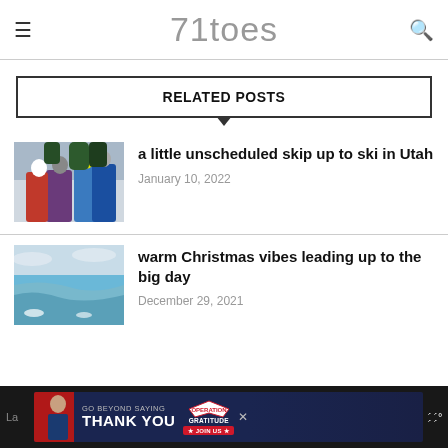71toes
RELATED POSTS
[Figure (photo): Group of skiers in colorful winter gear posing together at a ski resort with snowy trees in the background]
a little unscheduled skip up to ski in Utah
January 10, 2022
[Figure (photo): Ocean beach scene with waves and light blue water, cloudy sky]
warm Christmas vibes leading up to the big day
December 29, 2021
[Figure (infographic): Advertisement banner: GO BEYOND SAYING THANK YOU - Operation Gratitude JOIN US]